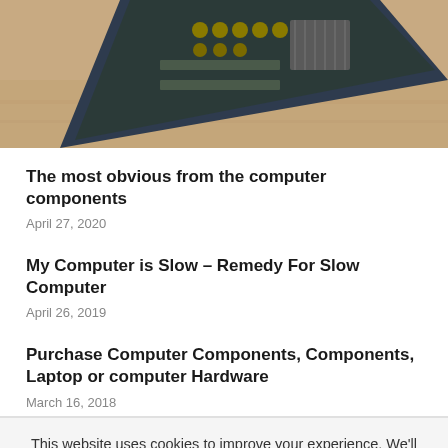[Figure (photo): Partial photo of a computer motherboard on a wooden desk surface, viewed from above at an angle.]
The most obvious from the computer components
April 27, 2020
My Computer is Slow – Remedy For Slow Computer
April 26, 2019
Purchase Computer Components, Components, Laptop or computer Hardware
March 16, 2018
This website uses cookies to improve your experience. We'll assume you're ok with this, but you can opt-out if you wish.